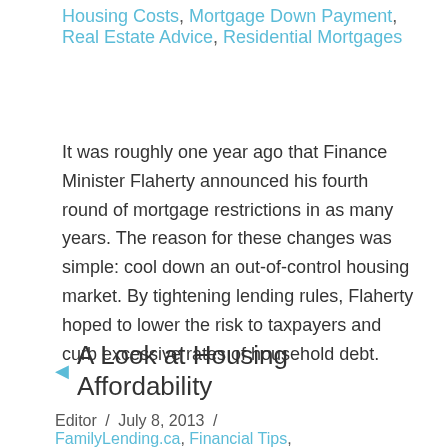Housing Costs, Mortgage Down Payment, Real Estate Advice, Residential Mortgages
It was roughly one year ago that Finance Minister Flaherty announced his fourth round of mortgage restrictions in as many years. The reason for these changes was simple: cool down an out-of-control housing market. By tightening lending rules, Flaherty hoped to lower the risk to taxpayers and curb excessive rates of household debt.
A Look at Housing Affordability
Editor / July 8, 2013 / FamilyLending.ca, Financial Tips,